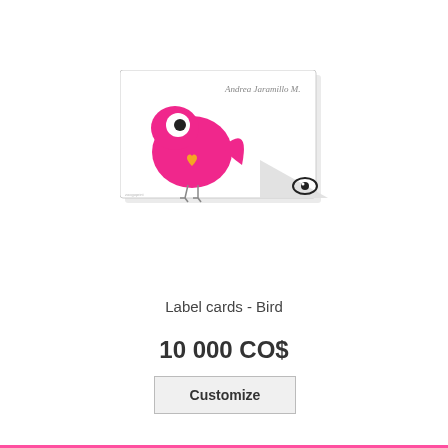[Figure (illustration): A product card mockup showing a white label card with a cartoon pink bird with a big eye and orange heart, and the cursive text 'Andrea Jaramillo M.' in the upper right. Below the card is a small grey triangular corner with an eye icon (zoom/preview symbol).]
Label cards - Bird
10 000 CO$
Customize